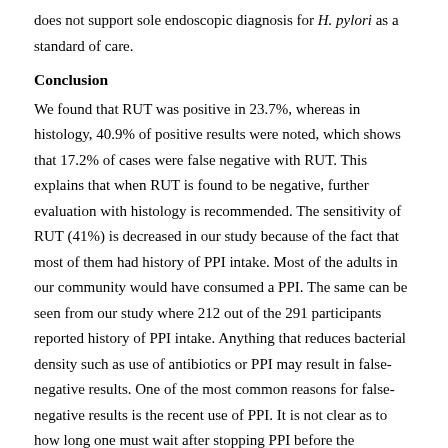does not support sole endoscopic diagnosis for H. pylori as a standard of care.
Conclusion
We found that RUT was positive in 23.7%, whereas in histology, 40.9% of positive results were noted, which shows that 17.2% of cases were false negative with RUT. This explains that when RUT is found to be negative, further evaluation with histology is recommended. The sensitivity of RUT (41%) is decreased in our study because of the fact that most of them had history of PPI intake. Most of the adults in our community would have consumed a PPI. The same can be seen from our study where 212 out of the 291 participants reported history of PPI intake. Anything that reduces bacterial density such as use of antibiotics or PPI may result in false-negative results. One of the most common reasons for false-negative results is the recent use of PPI. It is not clear as to how long one must wait after stopping PPI before the possibility of a false negative result becomes unlikely. The sensitivity of RUT in those who gave history of PPI intake is only 30.49% and so it would be better to do histopathology for H. pylori in those patients with PPI intake and OGD shows features of gastritis.
Financial support and sponsorship